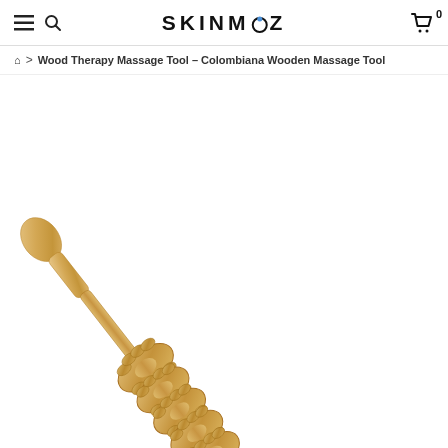SKINMOZ
Wood Therapy Massage Tool – Colombiana Wooden Massage Tool
[Figure (photo): A wooden massage tool (Colombiana wood therapy roller) with a handle on the upper left and multiple textured gear-like wooden rings arranged diagonally across a white background.]